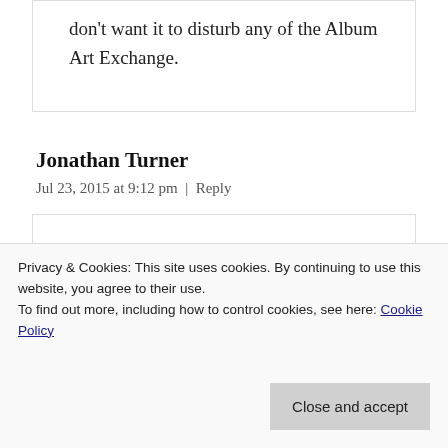don't want it to disturb any of the Album Art Exchange.
Jonathan Turner
Jul 23, 2015 at 9:12 pm | Reply
I listen to a lot less music now as a
complete disregard for the serious
Privacy & Cookies: This site uses cookies. By continuing to use this website, you agree to their use. To find out more, including how to control cookies, see here: Cookie Policy
Close and accept